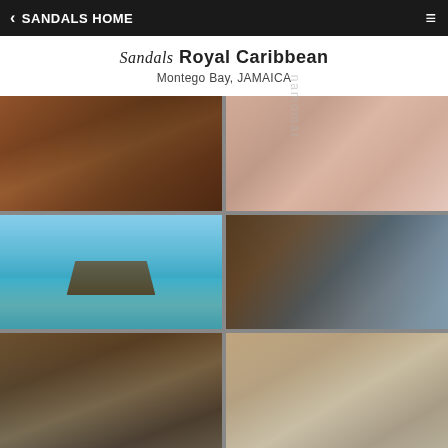SANDALS HOME
Sandals Royal Caribbean
Montego Bay, JAMAICA
[Figure (photo): Bar scene with guests sitting at a wooden bar]
[Figure (photo): Couple in soft focus, light pink tones]
[Figure (photo): Overwater bungalows on turquoise Caribbean sea]
[Figure (photo): Interior room with ocean view, nautical decor]
[Figure (photo): Interior of overwater bungalow with high wooden ceiling]
[Figure (photo): Interior room with light tones and ocean view]